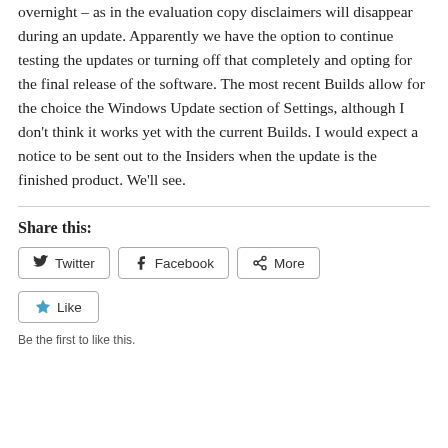overnight – as in the evaluation copy disclaimers will disappear during an update. Apparently we have the option to continue testing the updates or turning off that completely and opting for the final release of the software. The most recent Builds allow for the choice the Windows Update section of Settings, although I don't think it works yet with the current Builds. I would expect a notice to be sent out to the Insiders when the update is the finished product. We'll see.
Share this:
Twitter | Facebook | More
Like
Be the first to like this.